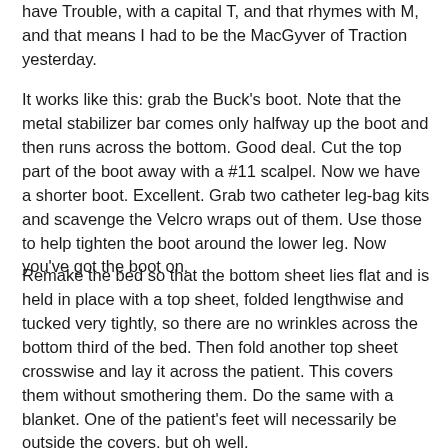have Trouble, with a capital T, and that rhymes with M, and that means I had to be the MacGyver of Traction yesterday.
It works like this: grab the Buck's boot. Note that the metal stabilizer bar comes only halfway up the boot and then runs across the bottom. Good deal. Cut the top part of the boot away with a #11 scalpel. Now we have a shorter boot. Excellent. Grab two catheter leg-bag kits and scavenge the Velcro wraps out of them. Use those to help tighten the boot around the lower leg. Now you've got the boot on.
Remake the bed so that the bottom sheet lies flat and is held in place with a top sheet, folded lengthwise and tucked very tightly, so there are no wrinkles across the bottom third of the bed. Then fold another top sheet crosswise and lay it across the patient. This covers them without smothering them. Do the same with a blanket. One of the patient's feet will necessarily be outside the covers, but oh well.
Snag a fresh coil of traction rope. Measure twice, cut once. Set up traction. In order to keep things clear, use paper flags marked "TRACTION ROPE" to label the, you guessed it, traction rope; it may also be worth the few extra labels. Adju...